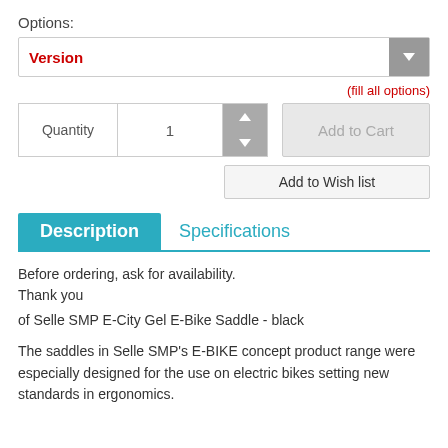Options:
Version
(fill all options)
Quantity  1
Add to Cart
Add to Wish list
Description   Specifications
Before ordering, ask for availability.
Thank you
of Selle SMP E-City Gel E-Bike Saddle - black
The saddles in Selle SMP's E-BIKE concept product range were especially designed for the use on electric bikes setting new standards in ergonomics.